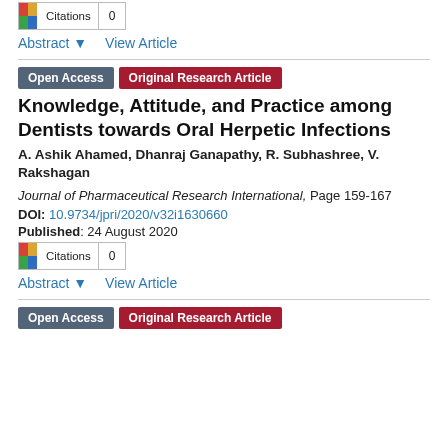[Figure (other): Citations badge with colorful logo icon, showing count 0]
Abstract ▾    View Article
Knowledge, Attitude, and Practice among Dentists towards Oral Herpetic Infections
A. Ashik Ahamed, Dhanraj Ganapathy, R. Subhashree, V. Rakshagan
Journal of Pharmaceutical Research International, Page 159-167
DOI: 10.9734/jpri/2020/v32i1630660
Published: 24 August 2020
[Figure (other): Citations badge with colorful logo icon, showing count 0]
Abstract ▾    View Article
Open Access   Original Research Article